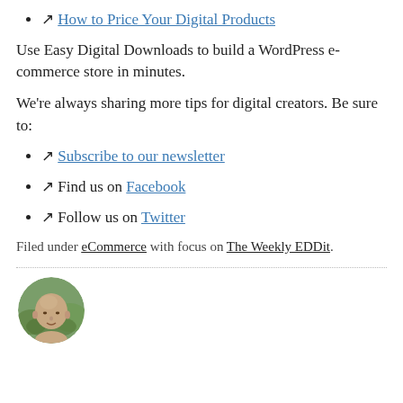🔗 How to Price Your Digital Products
Use Easy Digital Downloads to build a WordPress e-commerce store in minutes.
We're always sharing more tips for digital creators. Be sure to:
🔗 Subscribe to our newsletter
🔗 Find us on Facebook
🔗 Follow us on Twitter
Filed under eCommerce with focus on The Weekly EDDit.
[Figure (photo): Circular avatar photo of a bald man outdoors with green background, partially cropped at bottom of page.]